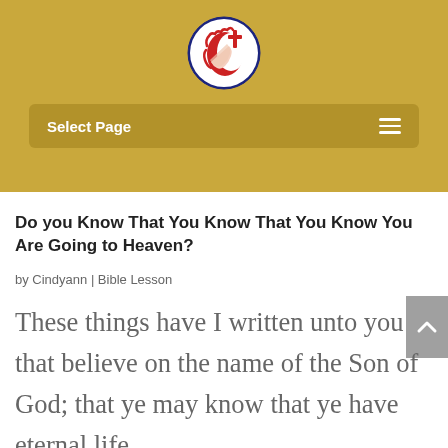[Figure (logo): Circular logo with profile of Jesus face in red and white with a blue cross on a navy blue circle background]
Select Page
Do you Know That You Know That You Know You Are Going to Heaven?
by Cindyann | Bible Lesson
These things have I written unto you that believe on the name of the Son of God; that ye may know that ye have eternal life,